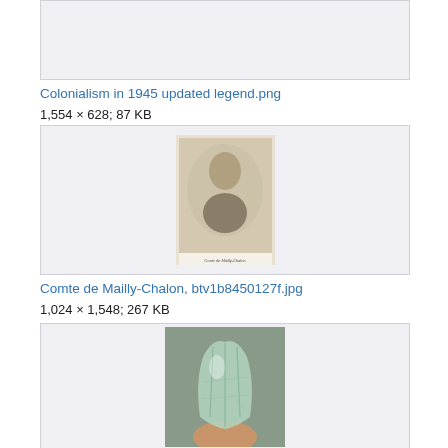[Figure (photo): Partial top image box (cropped, gray background)]
Colonialism in 1945 updated legend.png
1,554 × 628; 87 KB
[Figure (photo): Sepia-toned portrait photograph of a man in 19th century attire, with handwritten inscription at bottom]
Comte de Mailly-Chalon, btv1b8450127f.jpg
1,024 × 1,548; 267 KB
[Figure (photo): A hand holding a large transparent/greenish crystal or mineral specimen against a blurred outdoor background]